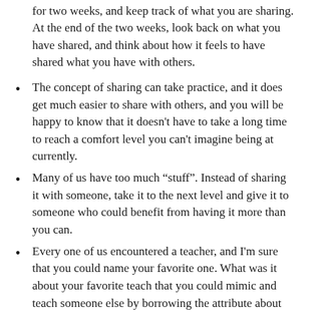for two weeks, and keep track of what you are sharing. At the end of the two weeks, look back on what you have shared, and think about how it feels to have shared what you have with others.
The concept of sharing can take practice, and it does get much easier to share with others, and you will be happy to know that it doesn’t have to take a long time to reach a comfort level you can’t imagine being at currently.
Many of us have too much “stuff”. Instead of sharing it with someone, take it to the next level and give it to someone who could benefit from having it more than you can.
Every one of us encountered a teacher, and I’m sure that you could name your favorite one. What was it about your favorite teach that you could mimic and teach someone else by borrowing the attribute about them that you admired?